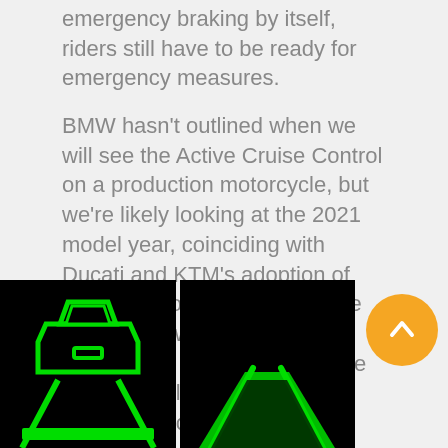emergency braking by itself, riders still have to be ready for emergency measures.
BMW hasn't outlined when we will see the Active Cruise Control on a production motorcycle, but we're likely looking at the 2021 model year, coinciding with Ducati and KTM's adoption of the technology. BMW's sample images show the system equipped to a K1600GT but we expect it will be available on a wide range of models. There may be some regulatory hurdles to deal with, so it's unclear if BMW will offer the technology in all markets.
[Figure (photo): Two side-by-side dark/black images showing green glowing automotive safety system icons on black backgrounds - left image shows a car with lane detection lines, right image shows road lane detection visualization.]